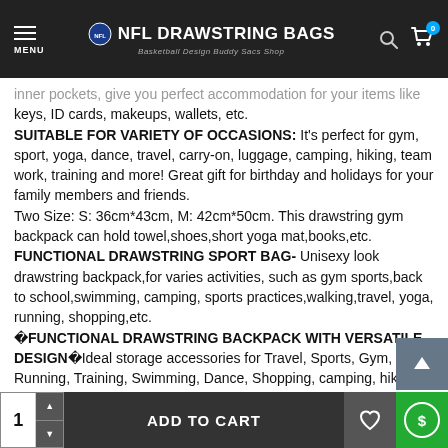NFL DRAWSTRING BAGS - Basketball Design Buddy Sacs Shop
inner pockets, give you perfect accommodation for your items like keys, ID cards, makeups, wallets, etc.
SUITABLE FOR VARIETY OF OCCASIONS: It's perfect for gym, sport, yoga, dance, travel, carry-on, luggage, camping, hiking, team work, training and more! Great gift for birthday and holidays for your family members and friends.
Two Size: S: 36cm*43cm, M: 42cm*50cm. This drawstring gym backpack can hold towel,shoes,short yoga mat,books,etc.
FUNCTIONAL DRAWSTRING SPORT BAG- Unisexy look drawstring backpack,for varies activities, such as gym sports,back to school,swimming, camping, sports practices,walking,travel, yoga, running, shopping,etc.
�FUNCTIONAL DRAWSTRING BACKPACK WITH VERSATILE DESIGN�Ideal storage accessories for Travel, Sports, Gym, Yoga, Running, Training, Swimming, Dance, Shopping, camping, hiking, climbing, picnicing, fishing, boating, sailing and so on in dai…
You also can use the drawstring bag when you take the dog…